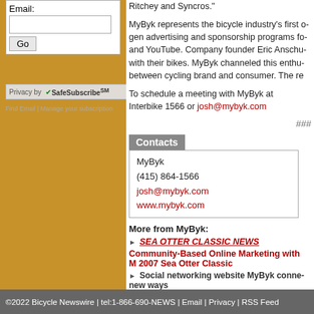Ritchey and Syncros."
MyByk represents the bicycle industry's first o... gen advertising and sponsorship programs fo... and YouTube. Company founder Eric Anschu... with their bikes. MyByk channeled this enthu... between cycling brand and consumer. The re...
To schedule a meeting with MyByk at Interbike... 1566 or josh@mybyk.com
###
Contacts
| MyByk |
| (415) 864-1566 |
| josh@mybyk.com |
| www.mybyk.com |
More from MyByk:
SEA OTTER CLASSIC NEWS
Community-Based Online Marketing with M... 2007 Sea Otter Classic
Social networking website MyByk conne... new ways
©2022 Bicycle Newswire | tel:1-866-690-NEWS | Email | Privacy | RSS Feed